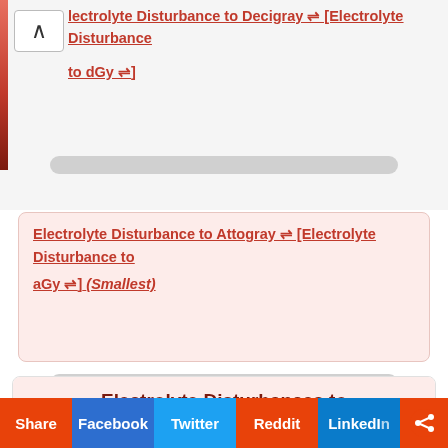Electrolyte Disturbance to Decigray ⇌ [Electrolyte Disturbance to dGy ⇌]
Electrolyte Disturbance to Attogray ⇌ [Electrolyte Disturbance to aGy ⇌] (Smallest)
Electrolyte Disturbances to Roentgens Conversion
Electrolyte Disturbance stands for electrolyte disturbances and R stands for roentgens. The formula used in electrolyte disturbances to roentgens conversion is 1 Electrolyte Disturbance = 0.0526199999999999142 Roentgen. In other words, 1 electrolyte disturbance is 20 times smaller than a roentgen. To convert all
Share | Facebook | Twitter | Reddit | LinkedIn